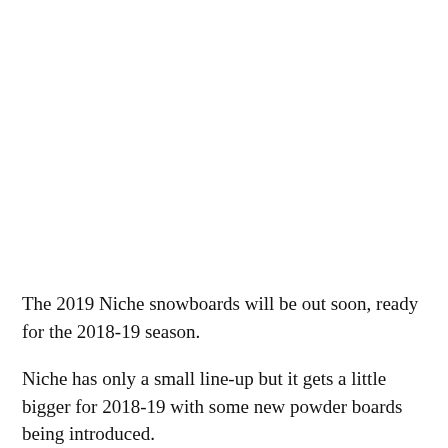[Figure (photo): Black snowboard with gold 'NICHE' lettering on top surface]
[Figure (photo): Dark marble-textured snowboard with white italic '2019 SNOWBOARDS' text on surface]
The 2019 Niche snowboards will be out soon, ready for the 2018-19 season.
Niche has only a small line-up but it gets a little bigger for 2018-19 with some new powder boards being introduced.